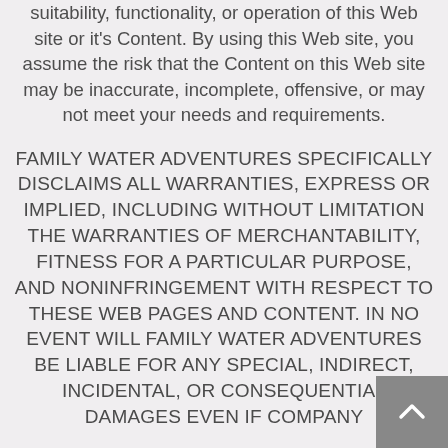suitability, functionality, or operation of this Web site or it's Content. By using this Web site, you assume the risk that the Content on this Web site may be inaccurate, incomplete, offensive, or may not meet your needs and requirements.
FAMILY WATER ADVENTURES SPECIFICALLY DISCLAIMS ALL WARRANTIES, EXPRESS OR IMPLIED, INCLUDING WITHOUT LIMITATION THE WARRANTIES OF MERCHANTABILITY, FITNESS FOR A PARTICULAR PURPOSE, AND NONINFRINGEMENT WITH RESPECT TO THESE WEB PAGES AND CONTENT. IN NO EVENT WILL FAMILY WATER ADVENTURES BE LIABLE FOR ANY SPECIAL, INDIRECT, INCIDENTAL, OR CONSEQUENTIAL DAMAGES EVEN IF COMPANY